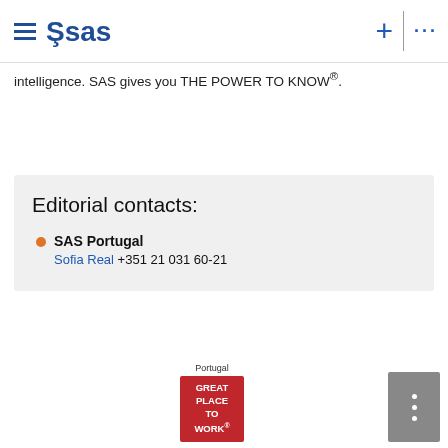SAS (navigation header)
intelligence. SAS gives you THE POWER TO KNOW®.
Editorial contacts:
SAS Portugal — Sofia Real +351 21 031 60-21
[Figure (logo): Great Place to Work Portugal badge — red square logo with text GREAT PLACE TO WORK®]
[Figure (other): Grey vertical more-options menu button with three white dots]